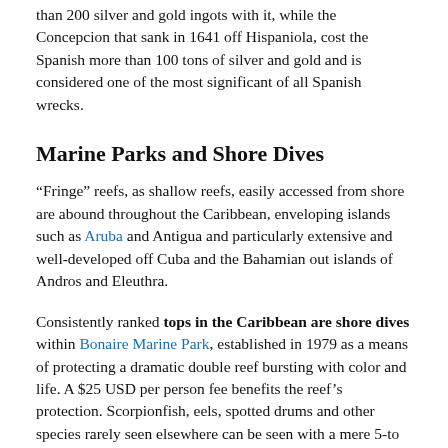than 200 silver and gold ingots with it, while the Concepcion that sank in 1641 off Hispaniola, cost the Spanish more than 100 tons of silver and gold and is considered one of the most significant of all Spanish wrecks.
Marine Parks and Shore Dives
“Fringe” reefs, as shallow reefs, easily accessed from shore are abound throughout the Caribbean, enveloping islands such as Aruba and Antigua and particularly extensive and well-developed off Cuba and the Bahamian out islands of Andros and Eleuthra.
Consistently ranked tops in the Caribbean are shore dives within Bonaire Marine Park, established in 1979 as a means of protecting a dramatic double reef bursting with color and life. A $25 USD per person fee benefits the reef’s protection. Scorpionfish, eels, spotted drums and other species rarely seen elsewhere can be seen with a mere 5-to 25-minute stroll into the water and a short swim to the